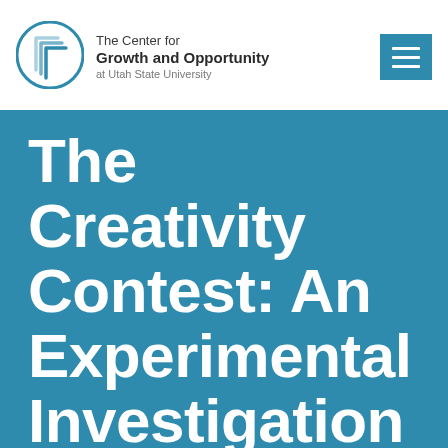[Figure (logo): The Center for Growth and Opportunity at Utah State University logo — circular icon with layered bracket shapes in teal/blue, beside the organization name in dark text]
The Creativity Contest: An Experimental Investigation of Eliciting Employee